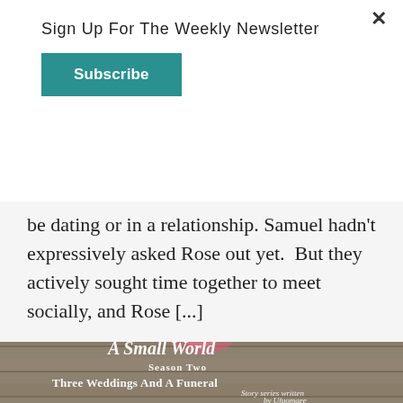Sign Up For The Weekly Newsletter
Subscribe
be dating or in a relationship. Samuel hadn't expressively asked Rose out yet. But they actively sought time together to meet socially, and Rose [...]
[Figure (photo): A Small World Season Two Three Weddings And A Funeral – Story series written by Ufuomaee. Background shows a pink floral bouquet on stone steps.]